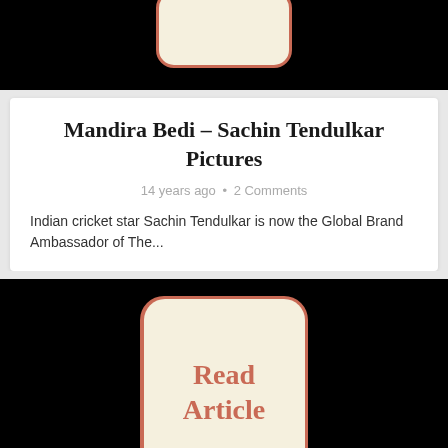[Figure (screenshot): Top black image strip with a rounded rectangle 'Read Article' button partially visible at top]
Mandira Bedi – Sachin Tendulkar Pictures
14 years ago • 2 Comments
Indian cricket star Sachin Tendulkar is now the Global Brand Ambassador of The...
[Figure (screenshot): Black background image with a large speech bubble reading 'Read Article' in red-orange bold text on a cream/beige rounded rectangle with an orange-red border]
Pics: Mandira Bedi walks the Ran